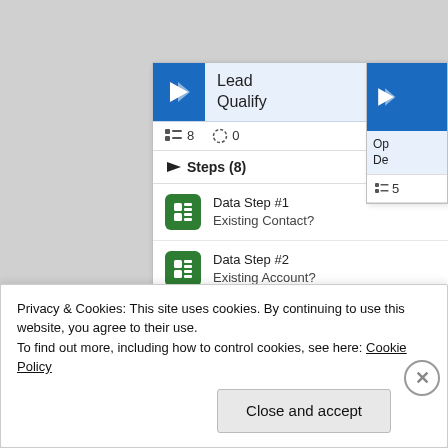[Figure (screenshot): Software UI screenshot showing a workflow step panel titled 'Lead Qualify' with 8 steps listed. Three data steps are visible: Data Step #1 Existing Contact?, Data Step #2 Existing Account?, Data Step #3 Purchase Timeframe. An orange highlighted row is partially visible at the bottom. A red arrow annotation points to a scrollbar. A partially visible second card on the right shows 'Op De' header with 5 items.]
Privacy & Cookies: This site uses cookies. By continuing to use this website, you agree to their use.
To find out more, including how to control cookies, see here: Cookie Policy
Close and accept